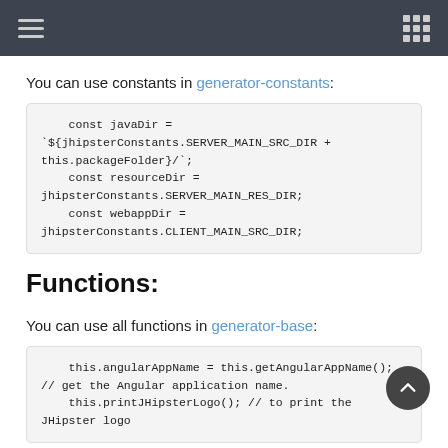You can use constants in generator-constants:
const javaDir = `${jhipsterConstants.SERVER_MAIN_SRC_DIR + this.packageFolder}/`;
    const resourceDir = jhipsterConstants.SERVER_MAIN_RES_DIR;
    const webappDir = jhipsterConstants.CLIENT_MAIN_SRC_DIR;
Functions:
You can use all functions in generator-base:
this.angularAppName = this.getAngularAppName(); // get the Angular application name.
    this.printJHipsterLogo(); // to print the JHipster logo
Note: The functions in generator-base.js and